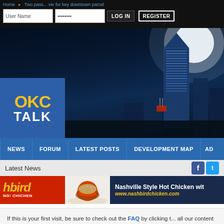OKC Talk website - login bar with User Name, Password, LOG IN, REGISTER
[Figure (screenshot): OKC Talk hero banner with city skyline at night and OKC TALK logo]
[Figure (screenshot): Navigation bar with NEWS, FORUM, LATEST POSTS, DEVELOPMENT MAP, AD links]
[Figure (screenshot): Latest News bar with Facebook and Twitter social icons]
[Figure (screenshot): Nashbird Nashville Style Hot Chicken advertisement banner with www.nashbirdchicken.com]
If this is your first visit, be sure to check out the FAQ by clicking t... all our content without registering, but to post to the forum (mak... register – it's free and easy!